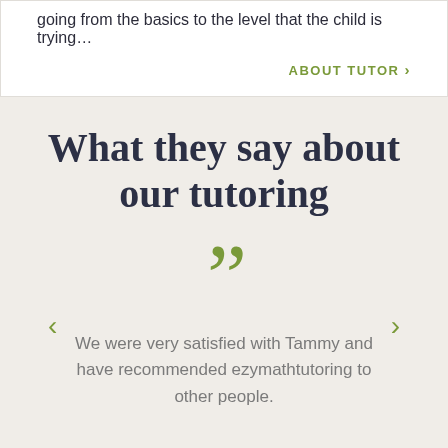going from the basics to the level that the child is trying…
ABOUT TUTOR >
What they say about our tutoring
[Figure (illustration): Large green closing double quotation marks decorative element]
We were very satisfied with Tammy and have recommended ezymathtutoring to other people.